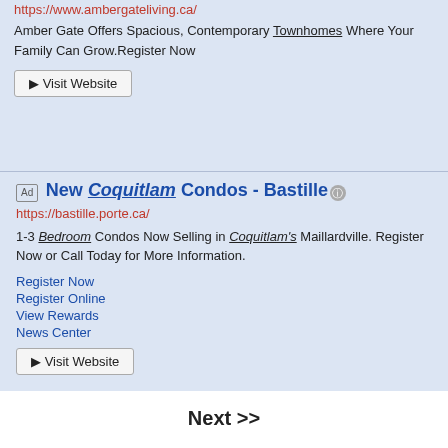https://www.ambergateliving.ca/
Amber Gate Offers Spacious, Contemporary Townhomes Where Your Family Can Grow.Register Now
▶ Visit Website
Ad New Coquitlam Condos - Bastille
https://bastille.porte.ca/
1-3 Bedroom Condos Now Selling in Coquitlam's Maillardville. Register Now or Call Today for More Information.
Register Now
Register Online
View Rewards
News Center
▶ Visit Website
Next >>